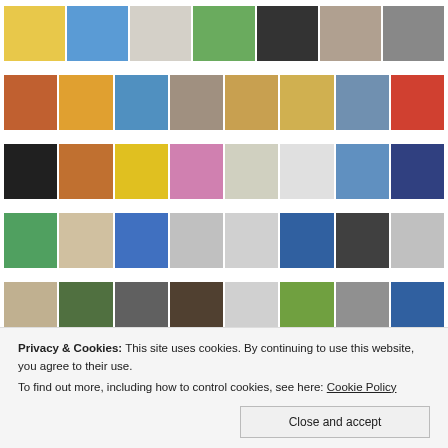[Figure (photo): Grid of art gallery thumbnail images, row 1 (partial top, 7 visible)]
[Figure (photo): Grid of art gallery thumbnail images, row 2 (8 thumbnails)]
[Figure (photo): Grid of art gallery thumbnail images, row 3 (8 thumbnails)]
[Figure (photo): Grid of art gallery thumbnail images, row 4 (8 thumbnails)]
[Figure (photo): Grid of art gallery thumbnail images, row 5 (8 thumbnails, partially cut off)]
Privacy & Cookies: This site uses cookies. By continuing to use this website, you agree to their use.
To find out more, including how to control cookies, see here: Cookie Policy
Close and accept